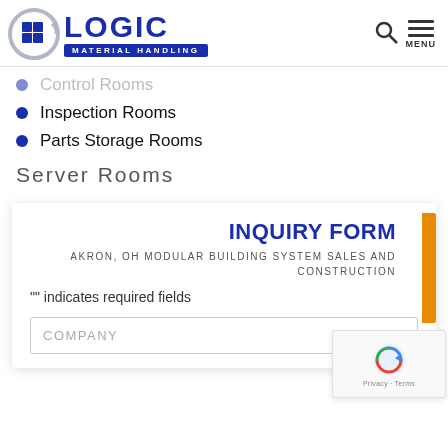LOGIC Material Handling
Control Rooms (partially visible)
Inspection Rooms
Parts Storage Rooms
Server Rooms
INQUIRY FORM
AKRON, OH MODULAR BUILDING SYSTEM SALES AND CONSTRUCTION
"" indicates required fields
COMPANY